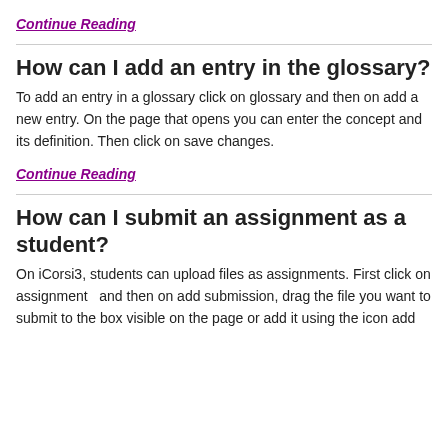Continue Reading
How can I add an entry in the glossary?
To add an entry in a glossary click on glossary and then on add a new entry. On the page that opens you can enter the concept and its definition. Then click on save changes.
Continue Reading
How can I submit an assignment as a student?
On iCorsi3, students can upload files as assignments. First click on assignment   and then on add submission, drag the file you want to submit to the box visible on the page or add it using the icon add